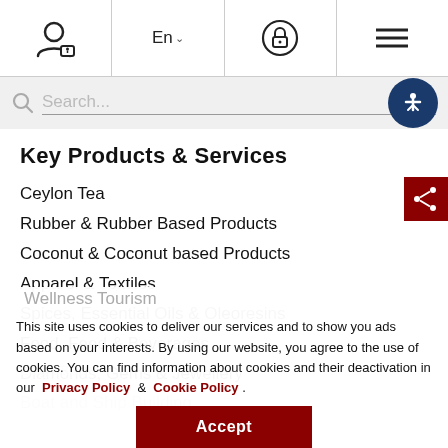Navigation bar with user icon, language selector (En), lock icon, and hamburger menu
Search...
Key Products & Services
Ceylon Tea
Rubber & Rubber Based Products
Coconut & Coconut based Products
Apparel & Textiles
Spices, Essential Oils & Oleoresins
Food, Feed & Beverages
Diamonds, Gems & Jewellery
Boat and Ship Building
Wellness Tourism
Logistics
This site uses cookies to deliver our services and to show you ads based on your interests. By using our website, you agree to the use of cookies. You can find information about cookies and their deactivation in our Privacy Policy & Cookie Policy .
Accept